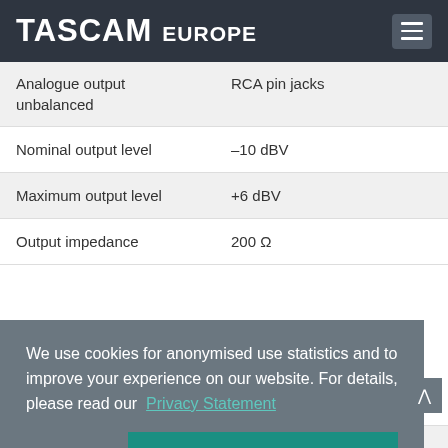TASCAM EUROPE
| Parameter | Value |
| --- | --- |
| Analogue output unbalanced | RCA pin jacks |
| Nominal output level | –10 dBV |
| Maximum output level | +6 dBV |
| Output impedance | 200 Ω |
| Output impedance | 75 Ω |
We use cookies for anonymised use statistics and to improve your experience on our website. For details, please read our Privacy Statement
Dismiss
That's fine!